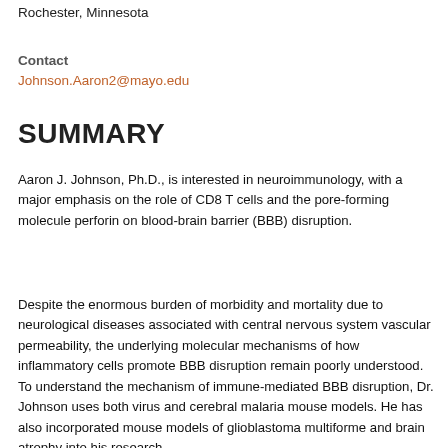Rochester, Minnesota
Contact
Johnson.Aaron2@mayo.edu
SUMMARY
Aaron J. Johnson, Ph.D., is interested in neuroimmunology, with a major emphasis on the role of CD8 T cells and the pore-forming molecule perforin on blood-brain barrier (BBB) disruption.
Despite the enormous burden of morbidity and mortality due to neurological diseases associated with central nervous system vascular permeability, the underlying molecular mechanisms of how inflammatory cells promote BBB disruption remain poorly understood. To understand the mechanism of immune-mediated BBB disruption, Dr. Johnson uses both virus and cerebral malaria mouse models. He has also incorporated mouse models of glioblastoma multiforme and brain atrophy into his research